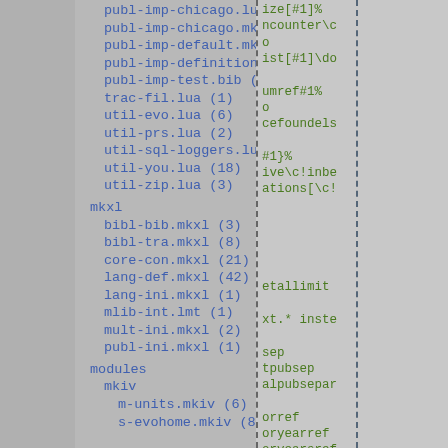publ-imp-chicago.lua (17)
publ-imp-chicago.mkvi (3)
publ-imp-default.mkvi (1)
publ-imp-definitions.mkvi (10)
publ-imp-test.bib (13)
trac-fil.lua (1)
util-evo.lua (6)
util-prs.lua (2)
util-sql-loggers.lua (3)
util-you.lua (18)
util-zip.lua (3)
mkxl
bibl-bib.mkxl (3)
bibl-tra.mkxl (8)
core-con.mkxl (21)
lang-def.mkxl (42)
lang-ini.mkxl (1)
mlib-int.lmt (1)
mult-ini.mkxl (2)
publ-ini.mkxl (1)
modules
mkiv
m-units.mkiv (6)
s-evohome.mkiv (8)